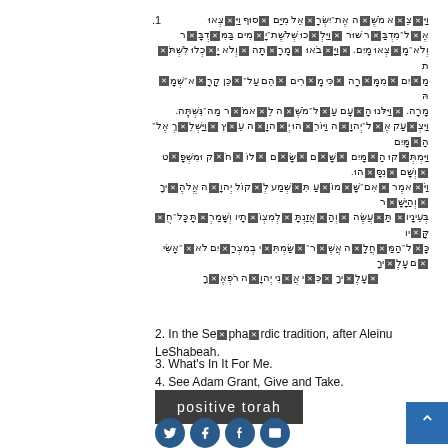[Figure (illustration): Hebrew text with crossword/grid pattern overlay showing biblical Hebrew verses with letters partially obscured by small black X-marked squares]
2. In the Sephardic tradition, after Aleinu LeShabeah.
3. What's In It For Me.
4. See Adam Grant, Give and Take.
[Figure (logo): positive torah logo - white text on dark grey/charcoal background rectangle]
[Figure (infographic): Social media sharing icons (Twitter, Facebook, Tumblr, Email) as dark blue circles, plus a back-to-top arrow button in blue]